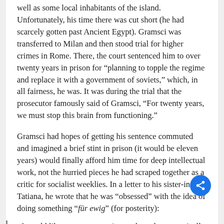well as some local inhabitants of the island. Unfortunately, his time there was cut short (he had scarcely gotten past Ancient Egypt). Gramsci was transferred to Milan and then stood trial for higher crimes in Rome. There, the court sentenced him to over twenty years in prison for “planning to topple the regime and replace it with a government of soviets,” which, in all fairness, he was. It was during the trial that the prosecutor famously said of Gramsci, “For twenty years, we must stop this brain from functioning.”
Gramsci had hopes of getting his sentence commuted and imagined a brief stint in prison (it would be eleven years) would finally afford him time for deep intellectual work, not the hurried pieces he had scraped together as a critic for socialist weeklies. In a letter to his sister-in-law Tatiana, he wrote that he was “obsessed” with the idea of doing something “für ewig” (for posterity):
I would like to concentrate intensely and systematically on something that would